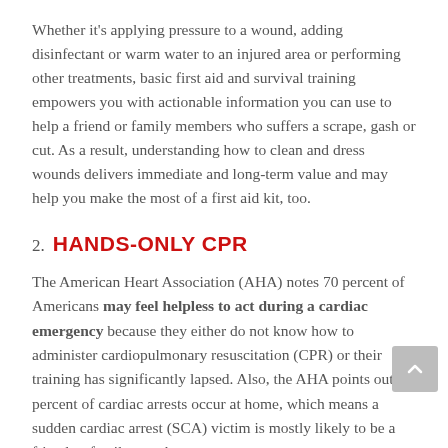Whether it's applying pressure to a wound, adding disinfectant or warm water to an injured area or performing other treatments, basic first aid and survival training empowers you with actionable information you can use to help a friend or family members who suffers a scrape, gash or cut. As a result, understanding how to clean and dress wounds delivers immediate and long-term value and may help you make the most of a first aid kit, too.
2. HANDS-ONLY CPR
The American Heart Association (AHA) notes 70 percent of Americans may feel helpless to act during a cardiac emergency because they either do not know how to administer cardiopulmonary resuscitation (CPR) or their training has significantly lapsed. Also, the AHA points out 88 percent of cardiac arrests occur at home, which means a sudden cardiac arrest (SCA) victim is mostly likely to be a friend or family member.